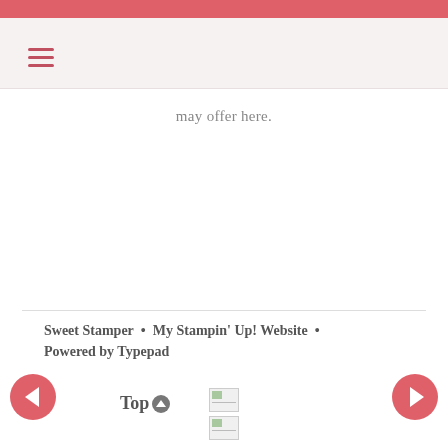may offer here.
[Figure (illustration): Two broken image placeholders stacked vertically]
Sweet Stamper • My Stampin' Up! Website • Powered by Typepad
Top